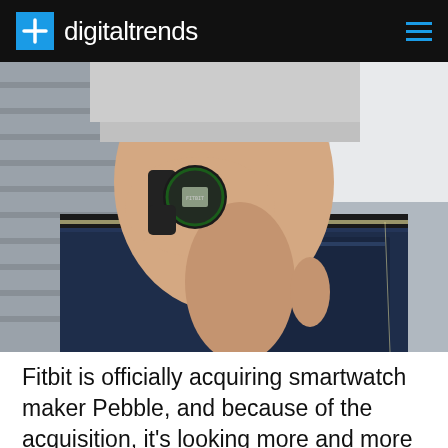digitaltrends
[Figure (photo): Close-up photo of a person's hand in the back pocket of dark blue jeans, wearing a Fitbit smartwatch with a dark circular face on their wrist. Person is wearing a gray long-sleeve top.]
Fitbit is officially acquiring smartwatch maker Pebble, and because of the acquisition, it's looking more and more like